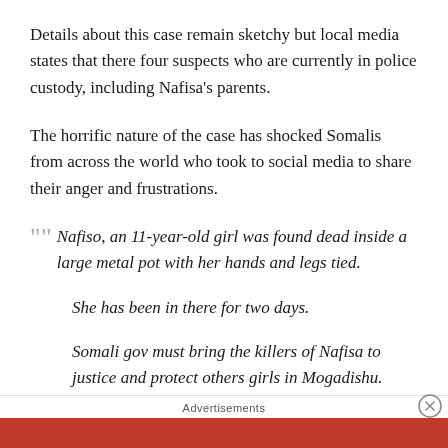Details about this case remain sketchy but local media states that there four suspects who are currently in police custody, including Nafisa’s parents.
The horrific nature of the case has shocked Somalis from across the world who took to social media to share their anger and frustrations.
“” Nafiso, an 11-year-old girl was found dead inside a large metal pot with her hands and legs tied.
She has been in there for two days.
Somali gov must bring the killers of Nafisa to justice and protect others girls in Mogadishu.
Advertisements